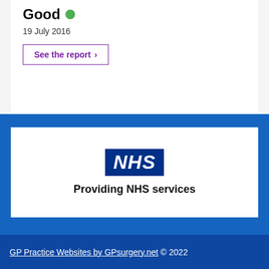Good
19 July 2016
See the report >
[Figure (logo): NHS logo with blue rectangle containing white italic bold text 'NHS', below which is bold text 'Providing NHS services']
GP Practice Websites by GPsurgery.net © 2022